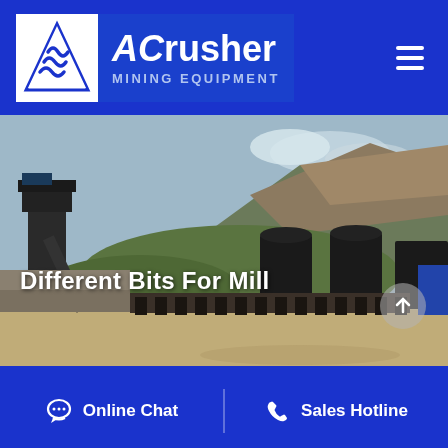[Figure (logo): ACrusher Mining Equipment logo with white mountain/wave icon on blue background]
[Figure (photo): Outdoor photo of a mining/crushing plant facility with industrial silos, conveyor structures, rocky cliffs in background, and a dirt yard in foreground]
Different Bits For Mill
Online Chat
Sales Hotline